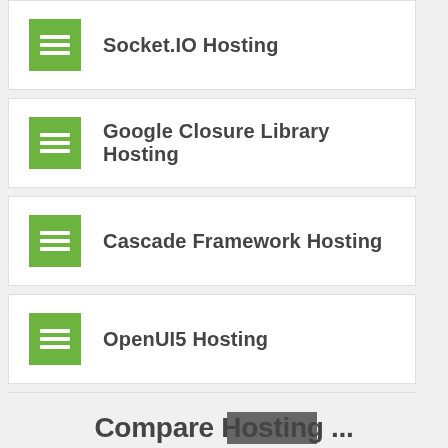Socket.IO Hosting
Google Closure Library Hosting
Cascade Framework Hosting
OpenUI5 Hosting
CakePHP Hosting
Plesk Hosting
Compare Hosting...